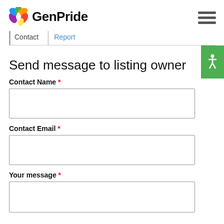GenPride
Contact | Report
Send message to listing owner
Contact Name *
Contact Email *
Your message *